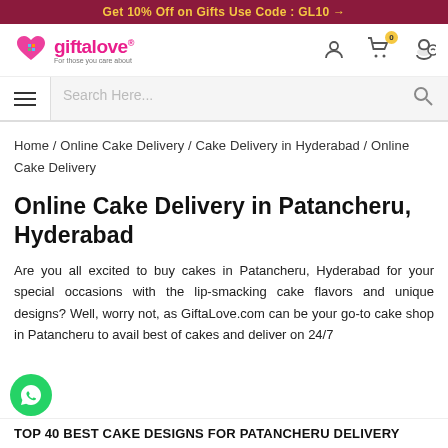Get 10% Off on Gifts Use Code : GL10 →
[Figure (logo): GiftaLove logo with heart icon and tagline 'For those you care about']
Search Here...
Home / Online Cake Delivery / Cake Delivery in Hyderabad / Online Cake Delivery
Online Cake Delivery in Patancheru, Hyderabad
Are you all excited to buy cakes in Patancheru, Hyderabad for your special occasions with the lip-smacking cake flavors and unique designs? Well, worry not, as GiftaLove.com can be your go-to cake shop in Patancheru to avail best of cakes and deliver on 24/7
TOP 40 BEST CAKE DESIGNS FOR PATANCHERU DELIVERY